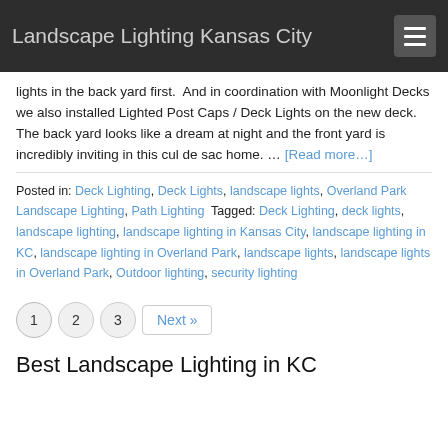Landscape Lighting Kansas City
lights in the back yard first.  And in coordination with Moonlight Decks we also installed Lighted Post Caps / Deck Lights on the new deck.  The back yard looks like a dream at night and the front yard is incredibly inviting in this cul de sac home. … [Read more…]
Posted in: Deck Lighting, Deck Lights, landscape lights, Overland Park Landscape Lighting, Path Lighting Tagged: Deck Lighting, deck lights, landscape lighting, landscape lighting in Kansas City, landscape lighting in KC, landscape lighting in Overland Park, landscape lights, landscape lights in Overland Park, Outdoor lighting, security lighting
1  2  3  Next »
Best Landscape Lighting in KC